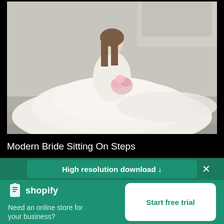[Figure (photo): A bride in a large white wedding dress sitting on stone steps, holding a bouquet of flowers. The background shows stone architecture.]
Modern Bride Sitting On Steps
High resolution download ↓
[Figure (logo): Shopify logo with bag icon and text 'shopify']
Need an online store for your business?
Start free trial